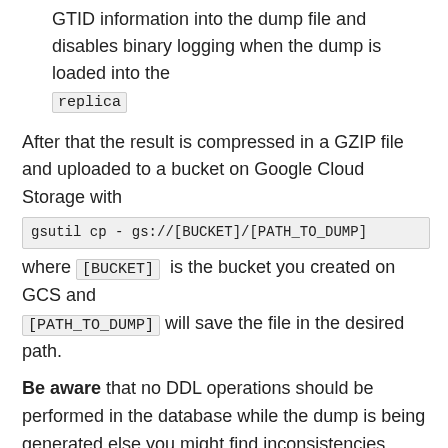GTID information into the dump file and disables binary logging when the dump is loaded into the replica
After that the result is compressed in a GZIP file and uploaded to a bucket on Google Cloud Storage with gsutil cp - gs://[BUCKET]/[PATH_TO_DUMP] where [BUCKET] is the bucket you created on GCS and [PATH_TO_DUMP] will save the file in the desired path.
Be aware that no DDL operations should be performed in the database while the dump is being generated else you might find inconsistencies.
See something wrong in this tutorial? Please don't hesitate to message me through the comments or the contact page.